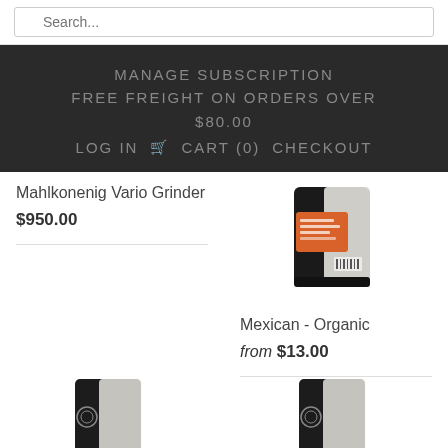Search...
MANAGE SUBSCRIPTION
FREE FREIGHT ON ORDERS OVER $80.00
LOG IN  CART (0)  CHECKOUT
Mahlkonenig Vario Grinder
$950.00
[Figure (photo): Coffee product bag with orange label]
Mexican - Organic
from $13.00
[Figure (photo): Black coffee bag at bottom left]
[Figure (photo): Black coffee bag at bottom right]